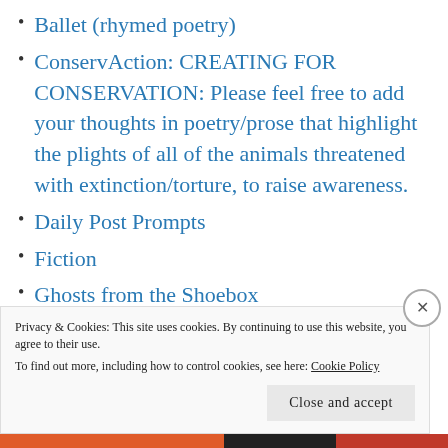Ballet (rhymed poetry)
ConservAction: CREATING FOR CONSERVATION: Please feel free to add your thoughts in poetry/prose that highlight the plights of all of the animals threatened with extinction/torture, to raise awareness.
Daily Post Prompts
Fiction
Ghosts from the Shoebox
Haiku
Life
Privacy & Cookies: This site uses cookies. By continuing to use this website, you agree to their use.
To find out more, including how to control cookies, see here: Cookie Policy
Close and accept